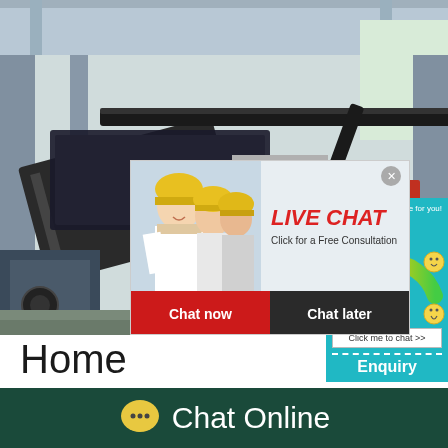[Figure (photo): Industrial machinery/equipment inside a large factory or warehouse building with metal framework and conveyor systems visible]
[Figure (screenshot): Live chat popup overlay with workers in hard hats, showing 'LIVE CHAT' in red italic text, 'Click for a Free Consultation', 'Chat now' red button and 'Chat later' dark button]
[Figure (infographic): Satisfaction meter widget with smiley faces, gauge/speedometer graphic, 'Click me to chat >>' button, and 'Enquiry' label on teal background]
Home
You'll find this to be the best...
Chat Online